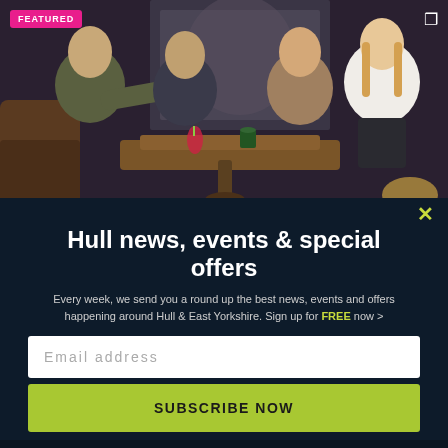[Figure (photo): Group of four young adults sitting around a wooden table in a dimly lit bar/restaurant, with drinks and food on the table. A 'FEATURED' badge is shown in the top-left corner.]
Hull news, events & special offers
Every week, we send you a round up the best news, events and offers happening around Hull & East Yorkshire. Sign up for FREE now >
Email address
SUBSCRIBE NOW